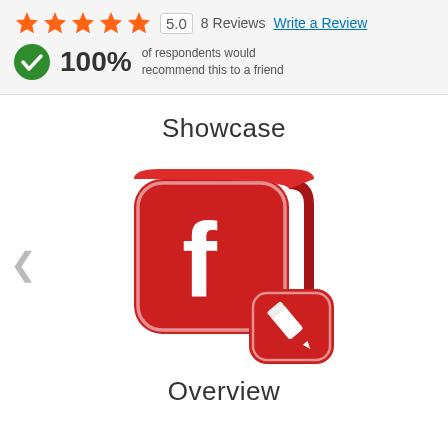[Figure (other): Star rating showing 5 orange/red stars with score 5.0, '8 Reviews' text, and 'Write a Review' link]
100% of respondents would recommend this to a friend
Showcase
[Figure (illustration): Red 3D Facebook logo cube icon with a smaller red rounded square pencil/edit icon overlapping in the bottom right]
Overview